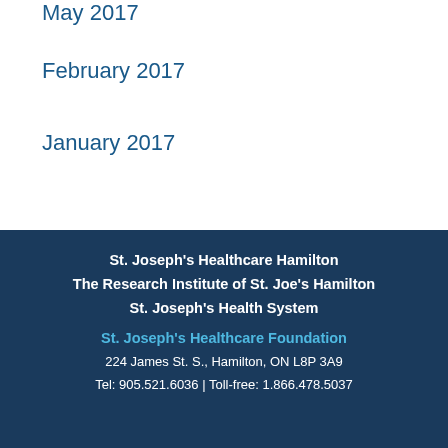May 2017
February 2017
January 2017
St. Joseph's Healthcare Hamilton
The Research Institute of St. Joe's Hamilton
St. Joseph's Health System
St. Joseph's Healthcare Foundation
224 James St. S., Hamilton, ON L8P 3A9
Tel: 905.521.6036 | Toll-free: 1.866.478.5037